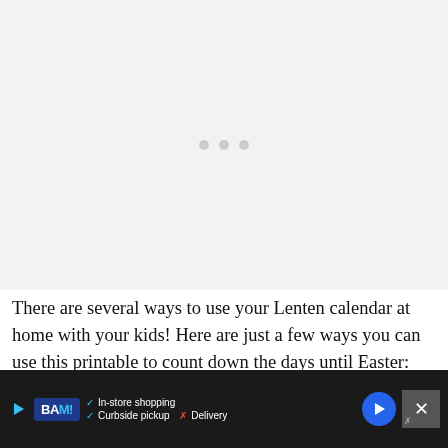[Figure (other): Gray placeholder area for an image or embedded content, with three small gray dots in the center indicating a loading state.]
There are several ways to use your Lenten calendar at home with your kids! Here are just a few ways you can use this printable to count down the days until Easter:
Color each day on the calendar as you go.